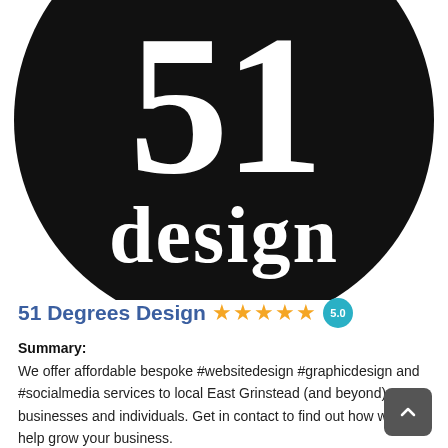[Figure (logo): 51 Degrees Design logo — large black circle with white serif text showing '51' on top and 'design' below]
51 Degrees Design ★★★★★ 5.0
Summary:
We offer affordable bespoke #websitedesign #graphicdesign and #socialmedia services to local East Grinstead (and beyond) businesses and individuals. Get in contact to find out how we can help grow your business.
Address: 16 Blackwell Road RH193HR